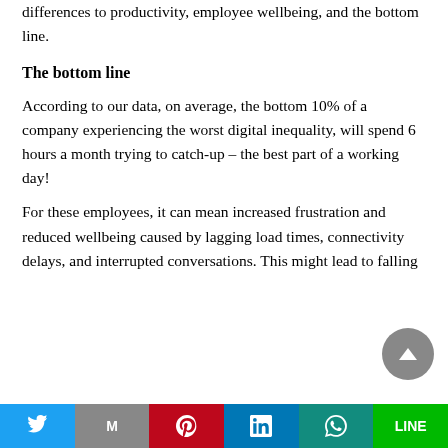differences to productivity, employee wellbeing, and the bottom line.
The bottom line
According to our data, on average, the bottom 10% of a company experiencing the worst digital inequality, will spend 6 hours a month trying to catch-up – the best part of a working day!
For these employees, it can mean increased frustration and reduced wellbeing caused by lagging load times, connectivity delays, and interrupted conversations. This might lead to falling
Twitter | M | Pinterest | LinkedIn | WhatsApp | LINE